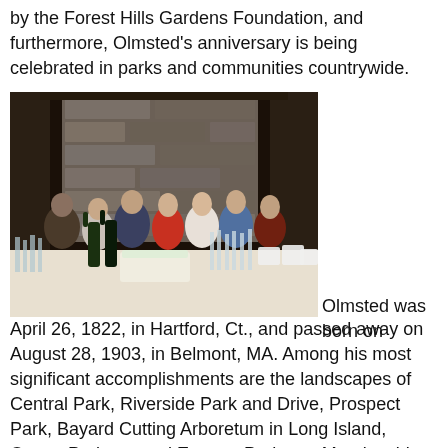by the Forest Hills Gardens Foundation, and furthermore, Olmsted's anniversary is being celebrated in parks and communities countrywide.
[Figure (photo): Group photo of approximately seven people standing together in front of a stone fireplace with dark wood paneling, holding champagne glasses and smiling. In the foreground is a table with bottles of wine, champagne flutes, a decorated cake, and glassware.]
Olmsted was born on April 26, 1822, in Hartford, Ct., and passed away on August 28, 1903, in Belmont, MA. Among his most significant accomplishments are the landscapes of Central Park, Riverside Park and Drive, Prospect Park, Bayard Cutting Arboretum in Long Island, Ocean Parkway and Eastern Parkway, Morningside Park, Downing Park in Newburgh, the U.S. Capitol, the 1893 World's Columbian Exposition in Chicago, Burdett Forest, Newburg...